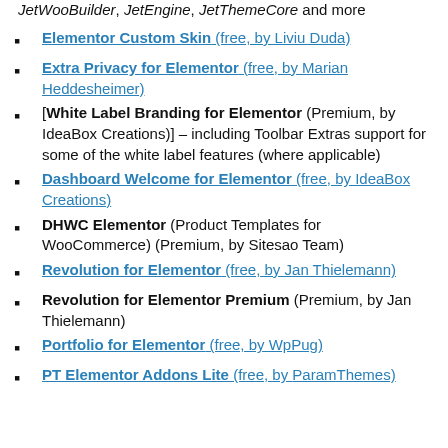JetWooBuilder, JetEngine, JetThemeCore and more
Elementor Custom Skin (free, by Liviu Duda)
Extra Privacy for Elementor (free, by Marian Heddesheimer)
[White Label Branding for Elementor (Premium, by IdeaBox Creations)] – including Toolbar Extras support for some of the white label features (where applicable)
Dashboard Welcome for Elementor (free, by IdeaBox Creations)
DHWC Elementor (Product Templates for WooCommerce) (Premium, by Sitesao Team)
Revolution for Elementor (free, by Jan Thielemann)
Revolution for Elementor Premium (Premium, by Jan Thielemann)
Portfolio for Elementor (free, by WpPug)
PT Elementor Addons Lite (free, by ParamThemes)